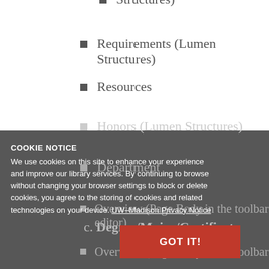Structures)
Requirements (Lumen Structures)
Resources
Honors (Lumen Structures)
Department
Overview (Page Body in the toolbar editor)
Overview/Major/Certificate
People
Resources/Scholarships
COOKIE NOTICE
We use cookies on this site to enhance your experience and improve our library services. By continuing to browse without changing your browser settings to block or delete cookies, you agree to the storing of cookies and related technologies on your device. UW–Madison Privacy Notice
C. Degree/Major/Certificate
Overview (Page Body in the toolbar editor)